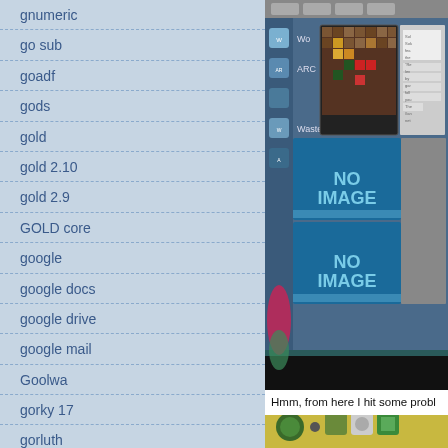gnumeric
go sub
goadf
gods
gold
gold 2.10
gold 2.9
GOLD core
google
google docs
google drive
google mail
Goolwa
gorky 17
gorluth
gotek
goto80
gran class
grange
[Figure (screenshot): Screenshot of a software application showing a list of items with game thumbnails including a tile-based game map, two 'NO IMAGE' placeholders, application icons, and desktop taskbar at the bottom.]
Hmm, from here I hit some probl